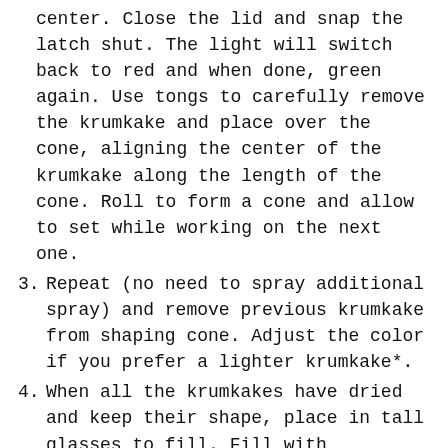center. Close the lid and snap the latch shut. The light will switch back to red and when done, green again. Use tongs to carefully remove the krumkake and place over the cone, aligning the center of the krumkake along the length of the cone. Roll to form a cone and allow to set while working on the next one.
3. Repeat (no need to spray additional spray) and remove previous krumkake from shaping cone. Adjust the color if you prefer a lighter krumkake*.
4. When all the krumkakes have dried and keep their shape, place in tall glasses to fill. Fill with puddings, whipped cream, chocolate ganache and/or fresh fruit for a delicate, wonderful and tasty dessert.
*My manual suggests a setting of 2.5 but I was getting zero color at that setting.